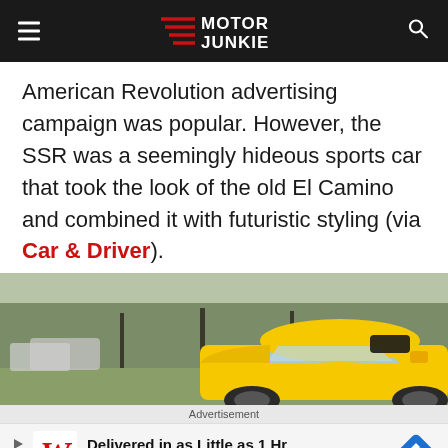Motor Junkie
American Revolution advertising campaign was popular. However, the SSR was a seemingly hideous sports car that took the look of the old El Camino and combined it with futuristic styling (via Car & Driver).
[Figure (photo): Yellow sports car (Chevrolet SSR) photographed outdoors in a suburban setting with trees and parked cars in the background.]
Advertisement
[Figure (other): Walgreens Photo advertisement banner: 'Delivered in as Little as 1 Hr, Walgreens Photo']